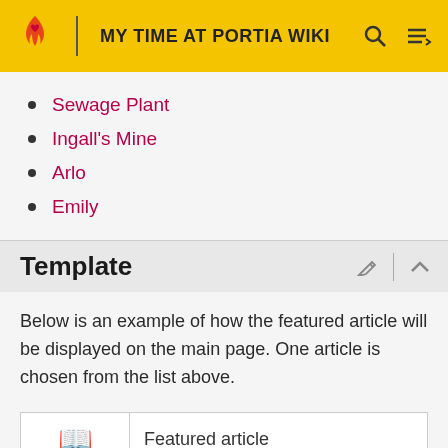MY TIME AT PORTIA WIKI
Sewage Plant
Ingall's Mine
Arlo
Emily
Template
Below is an example of how the featured article will be displayed on the main page. One article is chosen from the list above.
|  | Featured article |
| --- | --- |
| 📖 | Featured article |